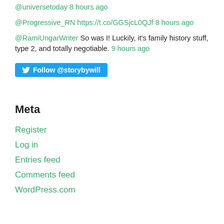@universetoday 8 hours ago
@Progressive_RN https://t.co/GGSjcL0QJf 8 hours ago
@RamiUngarWriter So was I! Luckily, it's family history stuff, type 2, and totally negotiable. 9 hours ago
Follow @storybywill
Meta
Register
Log in
Entries feed
Comments feed
WordPress.com